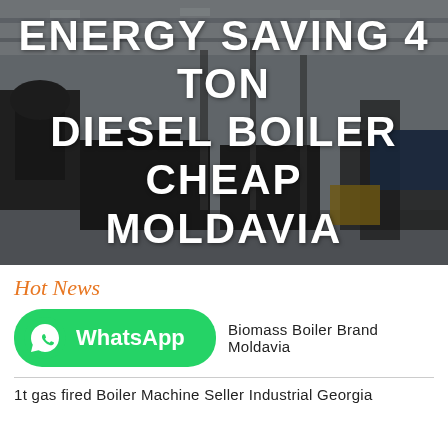[Figure (photo): Industrial boiler manufacturing facility interior, large warehouse with equipment and machinery, dark overlay]
ENERGY SAVING 4 TON DIESEL BOILER CHEAP MOLDAVIA
Hot News
[Figure (logo): WhatsApp button with green rounded rectangle background, phone icon, and WhatsApp text]
Biomass Boiler Brand Moldavia
1t gas fired Boiler Machine Seller Industrial Georgia